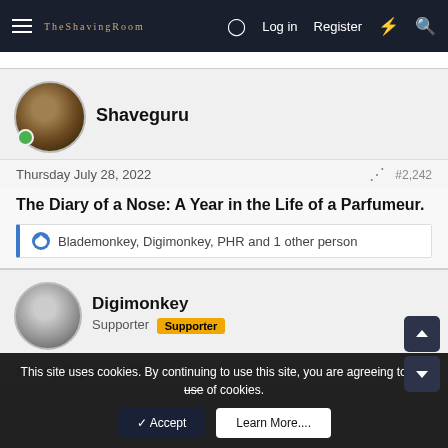The Shaving Room | Log in | Register
Shaveguru
Thursday July 28, 2022  #2,242
The Diary of a Nose: A Year in the Life of a Parfumeur.
Blademonkey, Digimonkey, PHR and 1 other person
Digimonkey
Supporter  Supporter
Sunday July 31, 2022  #2,213
This site uses cookies. By continuing to use this site, you are agreeing to our use of cookies.